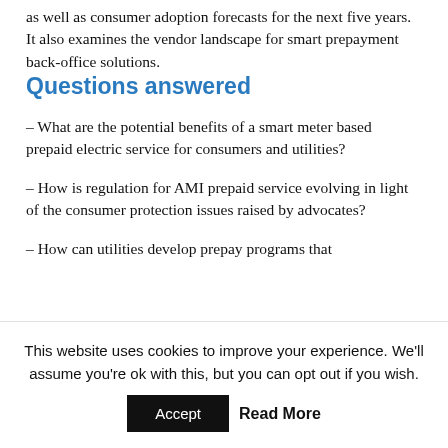as well as consumer adoption forecasts for the next five years. It also examines the vendor landscape for smart prepayment back-office solutions.
Questions answered
– What are the potential benefits of a smart meter based prepaid electric service for consumers and utilities?
– How is regulation for AMI prepaid service evolving in light of the consumer protection issues raised by advocates?
– How can utilities develop prepay programs that
This website uses cookies to improve your experience. We'll assume you're ok with this, but you can opt out if you wish.
Accept  Read More